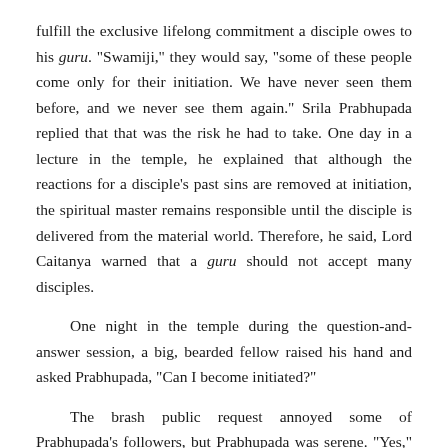fulfill the exclusive lifelong commitment a disciple owes to his guru. "Swamiji," they would say, "some of these people come only for their initiation. We have never seen them before, and we never see them again." Srila Prabhupada replied that that was the risk he had to take. One day in a lecture in the temple, he explained that although the reactions for a disciple's past sins are removed at initiation, the spiritual master remains responsible until the disciple is delivered from the material world. Therefore, he said, Lord Caitanya warned that a guru should not accept many disciples.
One night in the temple during the question-and-answer session, a big, bearded fellow raised his hand and asked Prabhupada, "Can I become initiated?"
The brash public request annoyed some of Prabhupada's followers, but Prabhupada was serene. "Yes," he replied. "But first you must answer two questions. Who is Krsna?"